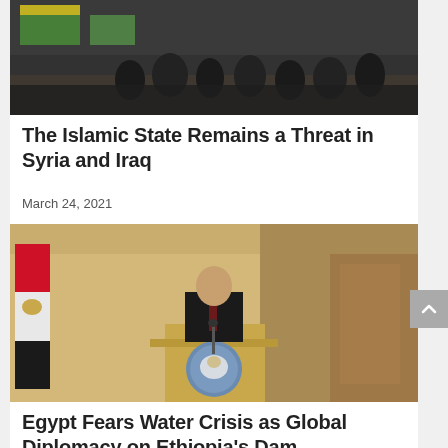[Figure (photo): People gathered outdoors, flags visible, likely a funeral or demonstration scene — partially cropped at top]
The Islamic State Remains a Threat in Syria and Iraq
March 24, 2021
[Figure (photo): A man in a suit speaking at a podium with the Egyptian/Sudanese eagle emblem, an Egyptian flag visible in the background]
Egypt Fears Water Crisis as Global Diplomacy on Ethiopia's Dam Stagnates